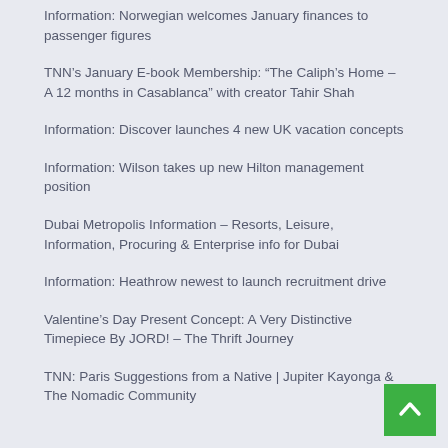Information: Norwegian welcomes January finances to passenger figures
TNN's January E-book Membership: “The Caliph’s Home – A 12 months in Casablanca” with creator Tahir Shah
Information: Discover launches 4 new UK vacation concepts
Information: Wilson takes up new Hilton management position
Dubai Metropolis Information – Resorts, Leisure, Information, Procuring & Enterprise info for Dubai
Information: Heathrow newest to launch recruitment drive
Valentine’s Day Present Concept: A Very Distinctive Timepiece By JORD! – The Thrift Journey
TNN: Paris Suggestions from a Native | Jupiter Kayonga & The Nomadic Community